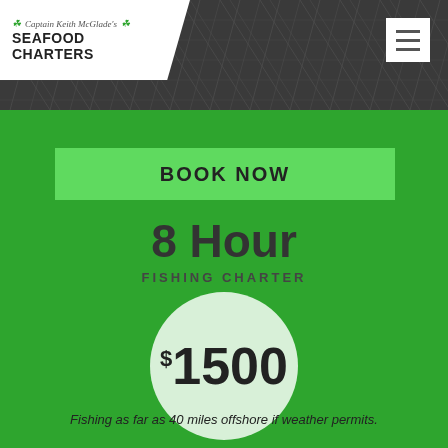[Figure (photo): Dark fishing net texture background in header area]
Captain Keith McGlade's SEAFOOD CHARTERS
BOOK NOW
8 Hour
FISHING CHARTER
$1500
Fishing as far as 40 miles offshore if weather permits.